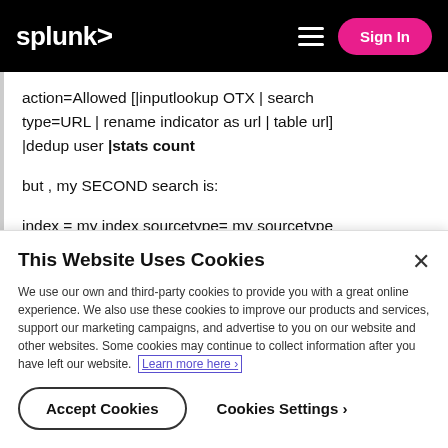splunk> [hamburger menu] Sign In
action=Allowed [|inputlookup OTX | search type=URL | rename indicator as url | table url] |dedup user |stats count
but , my SECOND search is:
index = my index sourcetype= my sourcetype action=Allowed [|inputlookup OTX | search
This Website Uses Cookies
We use our own and third-party cookies to provide you with a great online experience. We also use these cookies to improve our products and services, support our marketing campaigns, and advertise to you on our website and other websites. Some cookies may continue to collect information after you have left our website. Learn more here ›
Accept Cookies   Cookies Settings ›